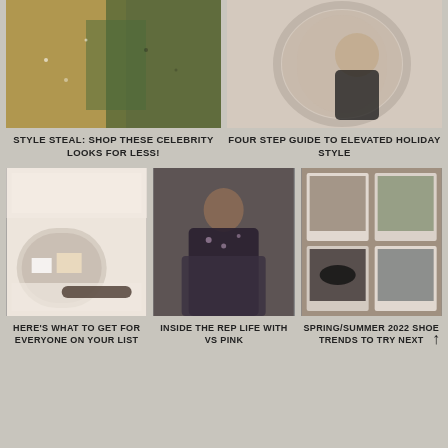[Figure (photo): Two women in sequined/glittery outfits at a party, one making peace sign]
[Figure (photo): Woman in black top looking in a round mirror]
STYLE STEAL: SHOP THESE CELEBRITY LOOKS FOR LESS!
FOUR STEP GUIDE TO ELEVATED HOLIDAY STYLE
[Figure (photo): Holiday Gift Guide graphic with decorated living room and text overlay]
[Figure (photo): Woman in floral top and gray pants sitting and smiling]
[Figure (photo): Collage of spring/summer shoe trends with polaroid-style photos]
HERE'S WHAT TO GET FOR EVERYONE ON YOUR LIST
INSIDE THE REP LIFE WITH VS PINK
SPRING/SUMMER 2022 SHOE TRENDS TO TRY NEXT